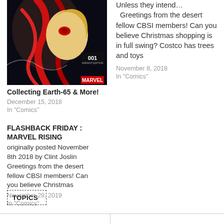[Figure (illustration): Marvel comic book cover showing a character, issue 001, with Marvel logo at bottom right]
Collecting Earth-65 & More!
December 15, 2018
In "Comics"
Unless they intend…
  Greetings from the desert fellow CBSI members! Can you believe Christmas shopping is in full swing? Costco has trees and toys
November 8, 2018
In "Comics"
FLASHBACK FRIDAY : MARVEL RISING
originally posted November 8th 2018 by Clint Joslin Greetings from the desert fellow CBSI members! Can you believe Christmas
November 29, 2019
In "Comics"
TOPICS